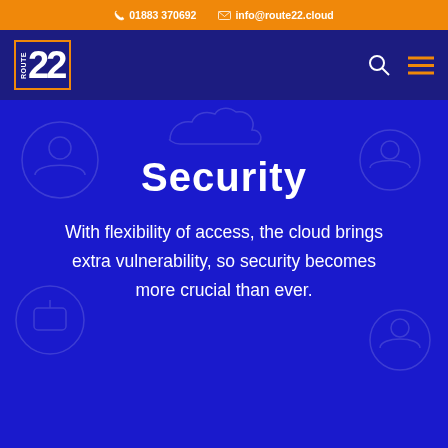01883 370692  info@route22.cloud
[Figure (logo): Route 22 logo — stylized '22' with 'ROUTE' text, orange and white on dark blue nav bar]
Security
With flexibility of access, the cloud brings extra vulnerability, so security becomes more crucial than ever.